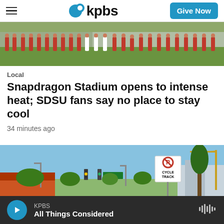KPBS — Give Now
[Figure (photo): Row of cheerleaders in red and white uniforms lined up along a grassy area next to a road at Snapdragon Stadium]
Local
Snapdragon Stadium opens to intense heat; SDSU fans say no place to stay cool
34 minutes ago
[Figure (photo): Street scene near Snapdragon Stadium with a crane, traffic lights, palm trees, a No Parking / Cycle Track sign, and blue sky]
KPBS
All Things Considered